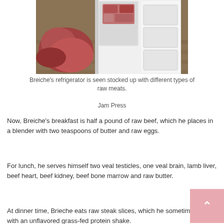[Figure (photo): Breiche's refrigerator stocked up with different types of raw meats, open freezer visible on wooden floor with red/pink bags of meat]
Breiche's refrigerator is seen stocked up with different types of raw meats.
Jam Press
Now, Breiche's breakfast is half a pound of raw beef, which he places in a blender with two teaspoons of butter and raw eggs.
For lunch, he serves himself two veal testicles, one veal brain, lamb liver, beef heart, beef kidney, beef bone marrow and raw butter.
At dinner time, Brieche eats raw steak slices, which he sometimes pairs with an unflavored grass-fed protein shake.